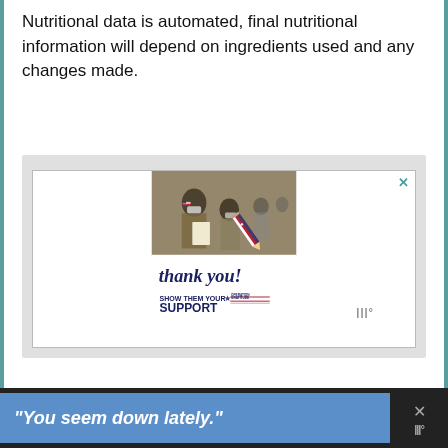Nutritional data is automated, final nutritional information will depend on ingredients used and any changes made.
[Figure (photo): Advertisement for Operation Gratitude showing military personnel in masks writing papers, with 'Thank you! SHOW THEM YOUR SUPPORT OPERATION GRATITUDE' text and a red-white-blue pencil graphic.]
[Figure (photo): Bottom banner ad with dark background showing text: "You seem down lately." in white italic bold font on a blue background, with a close X button on the right.]